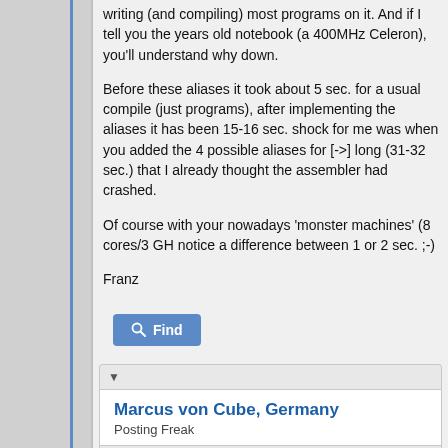writing (and compiling) most programs on it. And if I tell you the years old notebook (a 400MHz Celeron), you'll understand why down.
Before these aliases it took about 5 sec. for a usual compile (just programs), after implementing the aliases it has been 15-16 sec. shock for me was when you added the 4 possible aliases for [->] long (31-32 sec.) that I already thought the assembler had crashed.
Of course with your nowadays 'monster machines' (8 cores/3 GH notice a difference between 1 or 2 sec. ;-)
Franz
[Figure (other): Find button with magnifying glass icon]
Marcus von Cube, Germany
Posting Freak
05-14-2012, 03:08 PM
I may be able to explain the [alpha]'a b' problem. A single spa